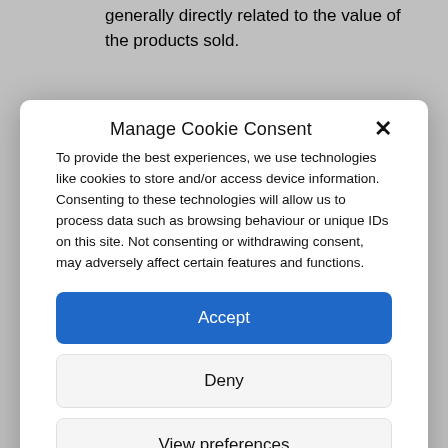generally directly related to the value of the products sold.
Manage Cookie Consent
To provide the best experiences, we use technologies like cookies to store and/or access device information. Consenting to these technologies will allow us to process data such as browsing behaviour or unique IDs on this site. Not consenting or withdrawing consent, may adversely affect certain features and functions.
Accept
Deny
View preferences
Cookie Policy   Privacy Notice
describe a commission payment made before the commission is deemed to be 'earned'. Indemnity